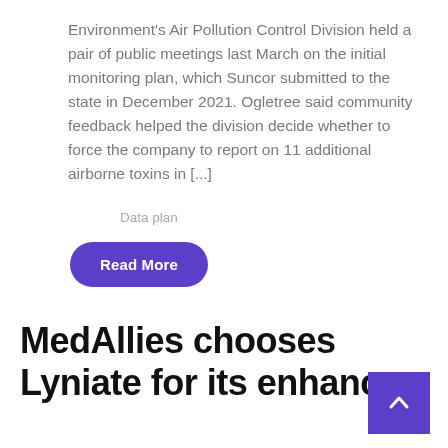Environment's Air Pollution Control Division held a pair of public meetings last March on the initial monitoring plan, which Suncor submitted to the state in December 2021. Ogletree said community feedback helped the division decide whether to force the company to report on 11 additional airborne toxins in [...]
Data plan
Read More
MedAllies chooses Lyniate for its enhanc...